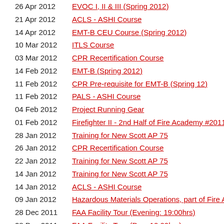26 Apr 2012 | EVOC I, II & III (Spring 2012)
21 Apr 2012 | ACLS - ASHI Course
14 Apr 2012 | EMT-B CEU Course (Spring 2012)
10 Mar 2012 | ITLS Course
03 Mar 2012 | CPR Recertification Course
14 Feb 2012 | EMT-B (Spring 2012)
11 Feb 2012 | CPR Pre-requisite for EMT-B (Spring 12)
11 Feb 2012 | PALS - ASHI Course
04 Feb 2012 | Project Running Gear
01 Feb 2012 | Firefighter II - 2nd Half of Fire Academy #2011-16 (Night)
28 Jan 2012 | Training for New Scott AP 75
26 Jan 2012 | CPR Recertification Course
22 Jan 2012 | Training for New Scott AP 75
14 Jan 2012 | Training for New Scott AP 75
14 Jan 2012 | ACLS - ASHI Course
09 Jan 2012 | Hazardous Materials Operations, part of Fire Academy #2...
28 Dec 2011 | FAA Facility Tour (Evening: 19:00hrs)
28 Dec 2011 | FAA Facility Tour (Day: 10:00hrs)
18 Dec 2011 | CPR Course
17 Dec 2011 | Training for New Scott AP 75
03 Dec 2011 | Training for New Scott AP 75
03 Dec 2011 | ITLS Course